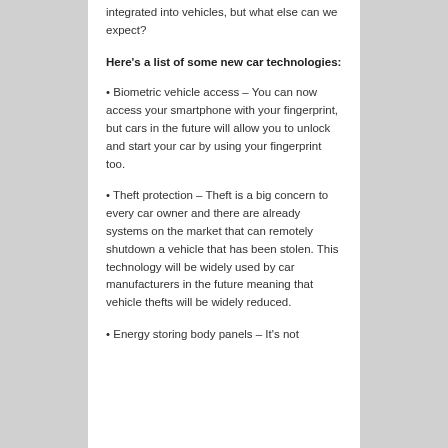integrated into vehicles, but what else can we expect?
Here's a list of some new car technologies:
• Biometric vehicle access – You can now access your smartphone with your fingerprint, but cars in the future will allow you to unlock and start your car by using your fingerprint too.
• Theft protection – Theft is a big concern to every car owner and there are already systems on the market that can remotely shutdown a vehicle that has been stolen. This technology will be widely used by car manufacturers in the future meaning that vehicle thefts will be widely reduced.
• Energy storing body panels – It's not